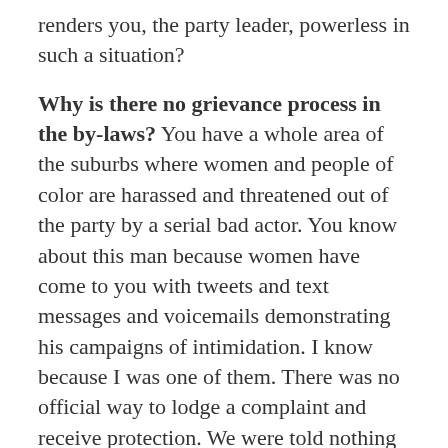renders you, the party leader, powerless in such a situation?
Why is there no grievance process in the by-laws? You have a whole area of the suburbs where women and people of color are harassed and threatened out of the party by a serial bad actor. You know about this man because women have come to you with tweets and text messages and voicemails demonstrating his campaigns of intimidation. I know because I was one of them. There was no official way to lodge a complaint and receive protection. We were told nothing could be done because the by-laws don't address his egregious behavior. Many of us paid for speaking up. Committee membership should not come at the expense of your professional or personal reputation, and it most certainly should not cost your sense of physical safety.